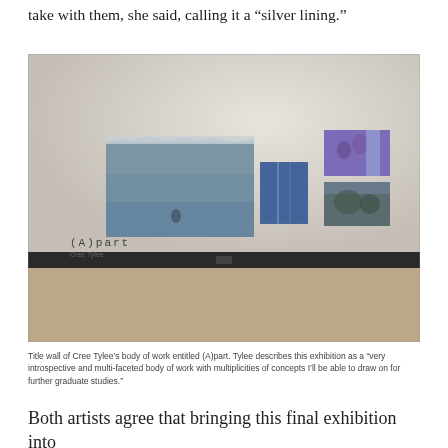take with them, she said, calling it a “silver lining.”
[Figure (photo): Gallery wall showing Cree Tylee's exhibition titled (A)part. Multiple photographs are mounted on a light grey wall — a large horizontal seascape print on the left, a smaller vertical blue photo in the center, and two smaller photos stacked on the right. The text '(A)part' and 'Cree Tylee' appears in the lower left of the wall. The floor is light wood/beige.]
Title wall of Cree Tylee’s body of work entitled (A)part. Tylee describes this exhibition as a “very introspective and multi-faceted body of work with multiplicities of concepts I’ll be able to draw on for further graduate studies.”
Both artists agree that bringing this final exhibition into